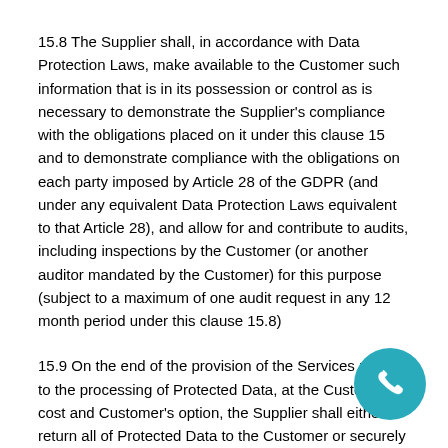15.8 The Supplier shall, in accordance with Data Protection Laws, make available to the Customer such information that is in its possession or control as is necessary to demonstrate the Supplier's compliance with the obligations placed on it under this clause 15 and to demonstrate compliance with the obligations on each party imposed by Article 28 of the GDPR (and under any equivalent Data Protection Laws equivalent to that Article 28), and allow for and contribute to audits, including inspections by the Customer (or another auditor mandated by the Customer) for this purpose (subject to a maximum of one audit request in any 12 month period under this clause 15.8)
15.9 On the end of the provision of the Services relating to the processing of Protected Data, at the Customer's cost and Customer's option, the Supplier shall either return all of Protected Data to the Customer or securely dispose of the